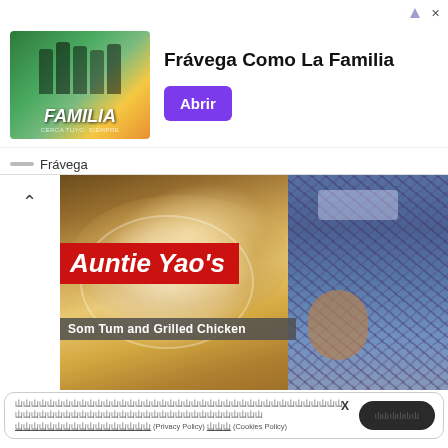[Figure (advertisement): Frávega Como La Familia advertisement banner with sports team image and purple Abrir button]
[Figure (photo): Auntie Yao's Som Tum and Grilled Chicken restaurant promotional image showing noodle dish and person in plaid shirt]
yyyyyyyyyyyyyyyyyyyyyyyyyyyyyyyyyyyyyyyyyyyyyyy (Privacy Policy) yyy (Cookies Policy)
BANGKOK
Overcast Clouds